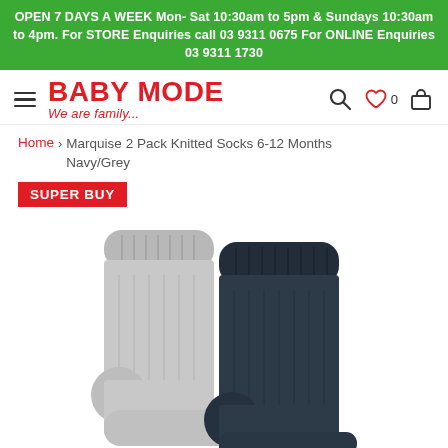OPEN 7 DAYS A WEEK Mon-Sat 10:30am to 5pm & Sundays 10:30am to 4pm. For STORE Enquiries call 03 9311 0675 For ONLINE Enquiries 03 9311 1730
BABY MODE — We are family...
Home > Marquise 2 Pack Knitted Socks 6-12 Months Navy/Grey
SUPER BUY
[Figure (photo): Two knitted baby socks side by side — one grey (left) and one navy/dark (right), photographed on a white background. Socks are for 6-12 months age range.]